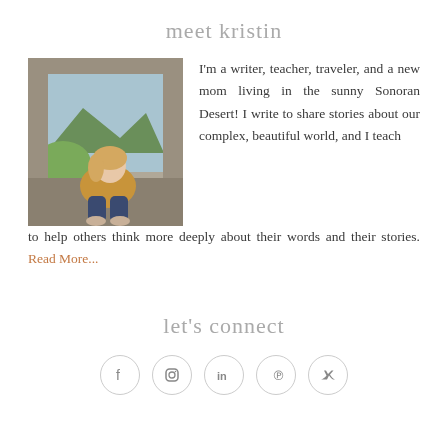meet kristin
[Figure (photo): Woman sitting on a stone ledge with a mountain and green valley visible through a window-like opening behind her. She is wearing a yellow jacket and jeans.]
I'm a writer, teacher, traveler, and a new mom living in the sunny Sonoran Desert! I write to share stories about our complex, beautiful world, and I teach to help others think more deeply about their words and their stories. Read More...
let's connect
[Figure (infographic): Social media icons in circular outlines: Facebook, Instagram, LinkedIn, Pinterest, Twitter]